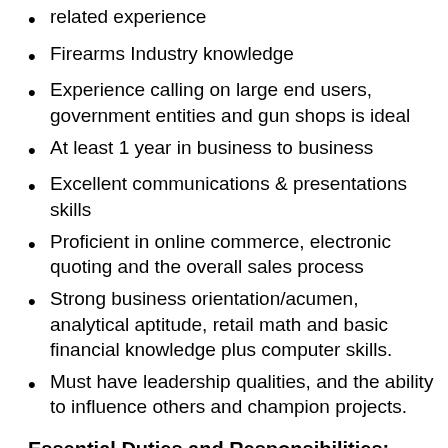related experience
Firearms Industry knowledge
Experience calling on large end users, government entities and gun shops is ideal
At least 1 year in business to business
Excellent communications & presentations skills
Proficient in online commerce, electronic quoting and the overall sales process
Strong business orientation/acumen, analytical aptitude, retail math and basic financial knowledge plus computer skills.
Must have leadership qualities, and the ability to influence others and champion projects.
Essential Duties and Responsibilities:
Help maximize sales and increase sales